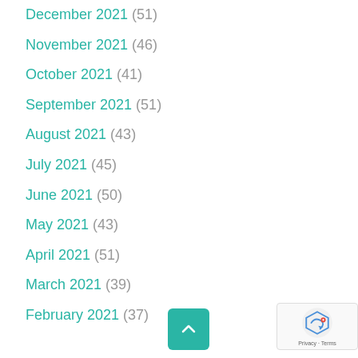December 2021 (51)
November 2021 (46)
October 2021 (41)
September 2021 (51)
August 2021 (43)
July 2021 (45)
June 2021 (50)
May 2021 (43)
April 2021 (51)
March 2021 (39)
February 2021 (37)